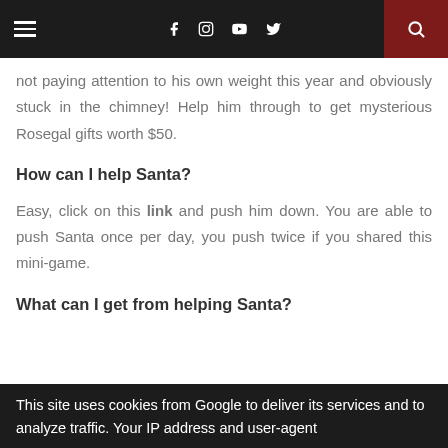Navigation bar with hamburger menu, social icons (Facebook, Instagram, YouTube, Twitter), and search button
not paying attention to his own weight this year and obviously stuck in the chimney! Help him through to get mysterious Rosegal gifts worth $50.
How can I help Santa?
Easy, click on this link and push him down. You are able to push Santa once per day, you push twice if you shared this mini-game.
What can I get from helping Santa?
This site uses cookies from Google to deliver its services and to analyze traffic. Your IP address and user-agent